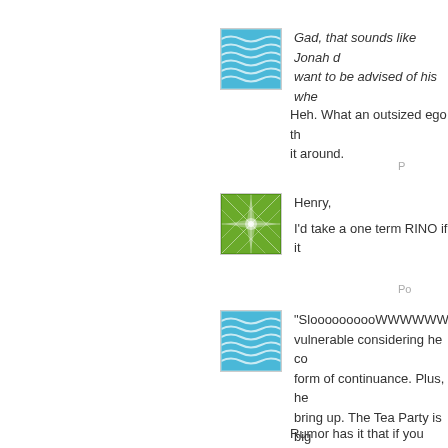[Figure (illustration): Blue wavy water pattern avatar icon]
Gad, that sounds like Jonah d want to be advised of his whe
Heh. What an outsized ego t it around.
P
[Figure (illustration): Green geometric starburst pattern avatar icon]
Henry,
I'd take a one term RINO if it
Po
[Figure (illustration): Blue wavy water pattern avatar icon]
"SloooooooooWWWWWW vulnerable considering he co form of continuance. Plus, he bring up. The Tea Party is big come down after Thanksgivi noise to generate PR for the day and miss the stuff on TV.
Rumor has it that if you sport